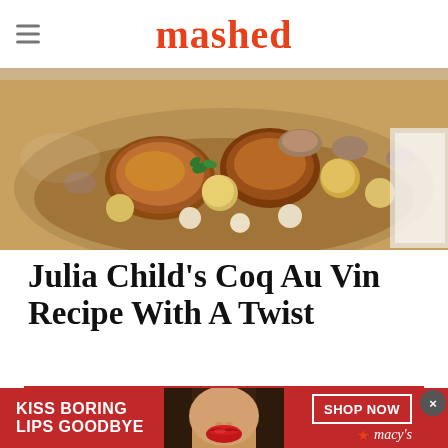mashed
[Figure (photo): Overhead photo of a cast iron pan with coq au vin — browned chicken pieces, baby potatoes, mushrooms, and herbs in a rich sauce.]
Julia Child's Coq Au Vin Recipe With A Twist
TOTAL TIME: 55 MINUTES
★★★★★  5 from 47 ratings  |  Print
[Figure (photo): Advertisement banner: KISS BORING LIPS GOODBYE — SHOP NOW ★ macy's. Shows close-up of woman's face with red lipstick.]